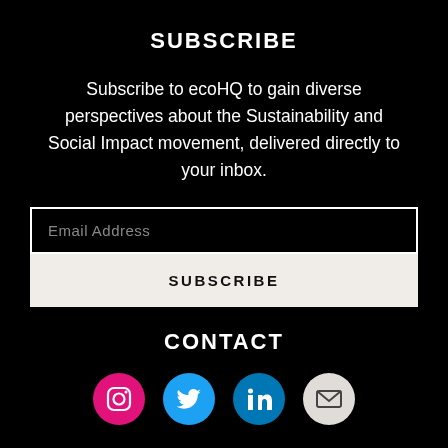SUBSCRIBE
Subscribe to ecoHQ to gain diverse perspectives about the Sustainability and Social Impact movement, delivered directly to your inbox.
[Figure (other): Email address input field with white border on black background, placeholder text 'Email Address']
[Figure (other): Subscribe button with light beige/cream background and dark text 'SUBSCRIBE']
CONTACT
[Figure (other): Four social media icons in circles: Instagram (pink), Twitter (blue), LinkedIn (blue), Email (white/gray)]